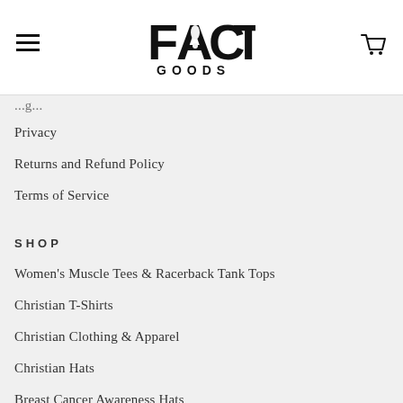[Figure (logo): FACT GOODS logo with stylized A in FACT and GOODS text below]
Privacy
Returns and Refund Policy
Terms of Service
SHOP
Women's Muscle Tees & Racerback Tank Tops
Christian T-Shirts
Christian Clothing & Apparel
Christian Hats
Breast Cancer Awareness Hats